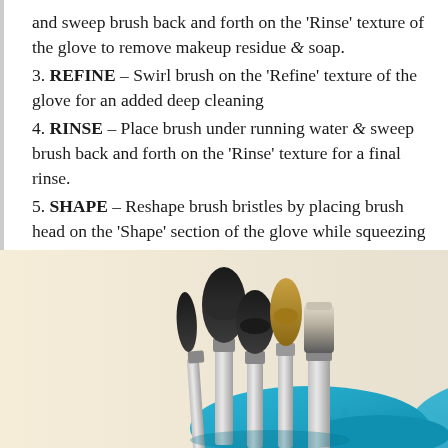and sweep brush back and forth on the 'Rinse' texture of the glove to remove makeup residue & soap.
3. REFINE – Swirl brush on the 'Refine' texture of the glove for an added deep cleaning
4. RINSE – Place brush under running water & sweep brush back and forth on the 'Rinse' texture for a final rinse.
5. SHAPE – Reshape brush bristles by placing brush head on the 'Shape' section of the glove while squeezing with your hand to remove excess water.
[Figure (photo): Photo of multiple makeup brushes (black, brown, and flat brushes with silver handles) standing upright in a turquoise/teal silicone cleaning glove, against a cream/beige background.]